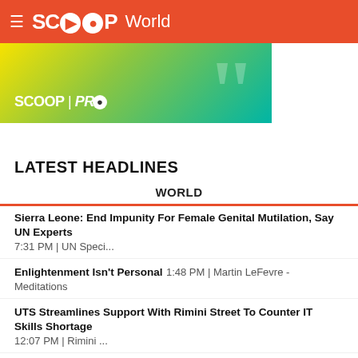SCOOP World
[Figure (logo): SCOOP PRO banner with gradient background (yellow to green to teal) and large quotation mark graphic]
LATEST HEADLINES
WORLD
Sierra Leone: End Impunity For Female Genital Mutilation, Say UN Experts 7:31 PM | UN Speci...
Enlightenment Isn't Personal 1:48 PM | Martin LeFevre - Meditations
UTS Streamlines Support With Rimini Street To Counter IT Skills Shortage 12:07 PM | Rimini ...
Five Years After Rohingya Exodus, Two Thirds Of Children In Refugee Camps Do Not... 11:05 AM
WHO Supports DR Congo Authorities As Ebola Resurges In Volatile East 6:25 AM | UN News